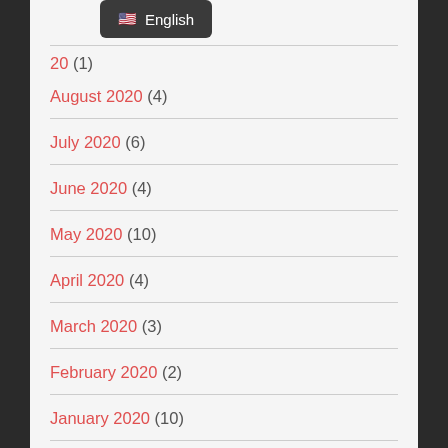[Figure (screenshot): Language dropdown menu showing US flag emoji and 'English' text on dark background]
20 (1)
August 2020 (4)
July 2020 (6)
June 2020 (4)
May 2020 (10)
April 2020 (4)
March 2020 (3)
February 2020 (2)
January 2020 (10)
December 2019 (1)
November 2019 (2)
June 2019 (3)